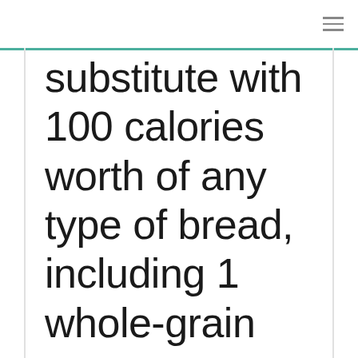≡
substitute with 100 calories worth of any type of bread, including 1 whole-grain